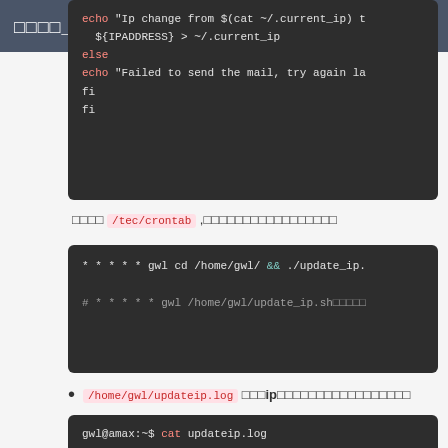□□□□_G
[Figure (screenshot): Dark code block showing bash script: echo 'Ip change from $(cat ~/.current_ip) t...' and ${IPADDRESS} > ~/.current_ip, else, echo 'Failed to send the mail, try again la...', fi, fi]
□□□□ /tec/crontab ,□□□□□□□□□□□□□□□□□
[Figure (screenshot): Dark code block: * * * * * gwl cd /home/gwl/ && ./update_ip.  # * * * * * gwl /home/gwl/update_ip.sh□□□□□]
/home/gwl/updateip.log □□□ip□□□□□□□□□□□□□□□□□
[Figure (screenshot): Terminal output: gwl@amax:~$ cat updateip.log | Last check at: 2019□ 10□ 10□ □□□ 22:03:24 C... | Ip change from  to 10.25.165.63]